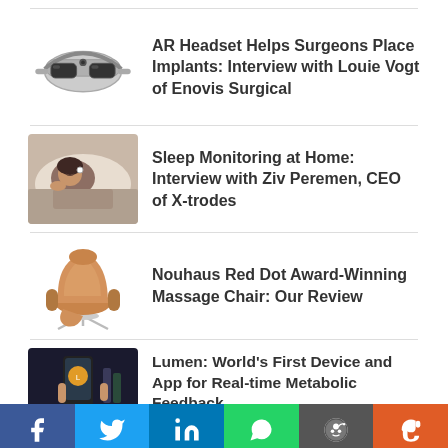[Figure (photo): AR headset device for surgical use]
AR Headset Helps Surgeons Place Implants: Interview with Louie Vogt of Enovis Surgical
[Figure (photo): Person sleeping in bed with sleep monitoring device]
Sleep Monitoring at Home: Interview with Ziv Peremen, CEO of X-trodes
[Figure (photo): Nouhaus massage chair, brown leather with metallic base]
Nouhaus Red Dot Award-Winning Massage Chair: Our Review
[Figure (photo): Hand holding smartphone with health app, dark background]
Lumen: World's First Device and App for Real-time Metabolic Feedback